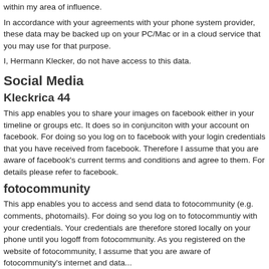within my area of influence.
In accordance with your agreements with your phone system provider, these data may be backed up on your PC/Mac or in a cloud service that you may use for that purpose.
I, Hermann Klecker, do not have access to this data.
Social Media
Kleckrica 44
This app enables you to share your images on facebook either in your timeline or groups etc. It does so in conjunciton with your account on facebook. For doing so you log on to facebook with your login credentials that you have received from facebook. Therefore I assume that you are aware of facebook's current terms and conditions and agree to them. For details please refer to facebook.
fotocommunity
This app enables you to access and send data to fotocommunity (e.g. comments, photomails). For doing so you log on to fotocommuntiy with your credentials. Your credentials are therefore stored locally on your phone until you logoff from fotocommunity. As you registered on the website of fotocommunity, I assume that you are aware of fotocommunity's internet and data...